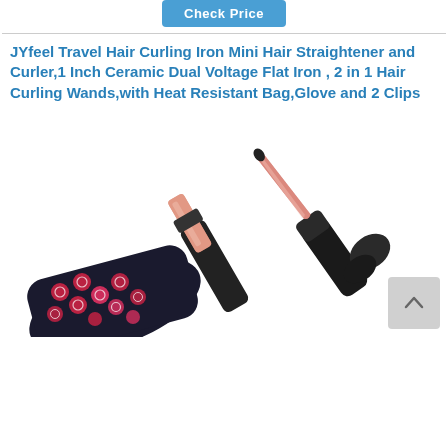Check Price
JYfeel Travel Hair Curling Iron Mini Hair Straightener and Curler,1 Inch Ceramic Dual Voltage Flat Iron , 2 in 1 Hair Curling Wands,with Heat Resistant Bag,Glove and 2 Clips
[Figure (photo): Product photo showing a pink and black hair curling iron / straightener set with a decorative heat-resistant glove/bag with red and pink circular pattern, displayed on white background.]